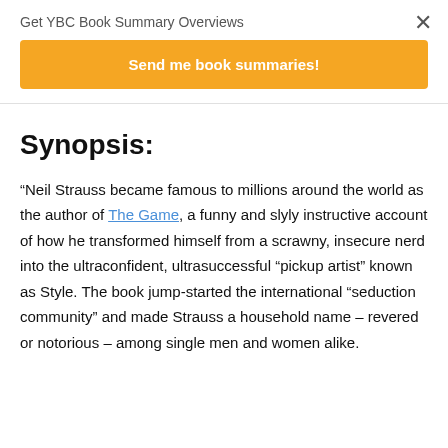Get YBC Book Summary Overviews
Send me book summaries!
Synopsis:
“Neil Strauss became famous to millions around the world as the author of The Game, a funny and slyly instructive account of how he transformed himself from a scrawny, insecure nerd into the ultraconfident, ultrasuccessful “pickup artist” known as Style. The book jump-started the international “seduction community” and made Strauss a household name – revered or notorious – among single men and women alike.